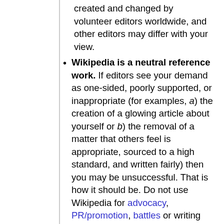created and changed by volunteer editors worldwide, and other editors may differ with your view.
Wikipedia is a neutral reference work. If editors see your demand as one-sided, poorly supported, or inappropriate (for examples, a) the creation of a glowing article about yourself or b) the removal of a matter that others feel is appropriate, sourced to a high standard, and written fairly) then you may be unsuccessful. That is how it should be. Do not use Wikipedia for advocacy, PR/promotion, battles or writing about